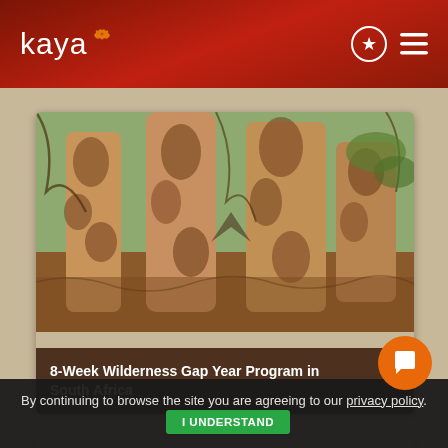kaya
[Figure (photo): Close-up photograph of giraffe legs and body showing distinctive spotted pattern, with brown earth and green foliage in background]
8-Week Wilderness Gap Year Program in South Africa
[Figure (photo): Young smiling boy in an orange/red t-shirt with 'BOYS' text, outdoors on what appears to be a road or path]
By continuing to browse the site you are agreeing to our privacy policy. I UNDERSTAND